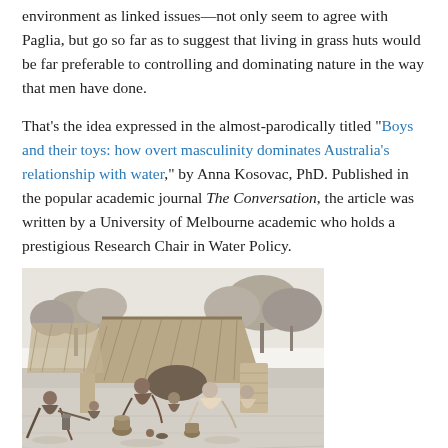environment as linked issues—not only seem to agree with Paglia, but go so far as to suggest that living in grass huts would be far preferable to controlling and dominating nature in the way that men have done.
That's the idea expressed in the almost-parodically titled "Boys and their toys: how overt masculinity dominates Australia's relationship with water," by Anna Kosovac, PhD. Published in the popular academic journal The Conversation, the article was written by a University of Melbourne academic who holds a prestigious Research Chair in Water Policy.
[Figure (illustration): Black and white illustration of a group of people sitting outside a grass hut, appearing to be in a traditional village setting with trees in the background.]